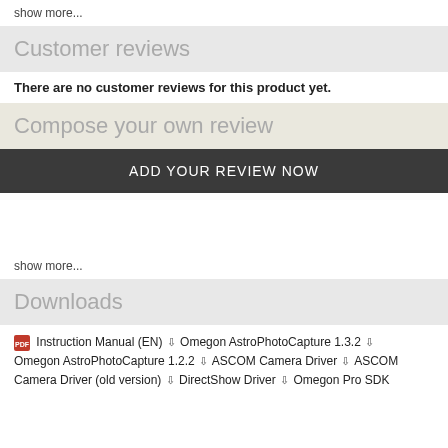show more...
Customer reviews
There are no customer reviews for this product yet.
Compose your own review
ADD YOUR REVIEW NOW
show more...
Downloads
Instruction Manual (EN) ⇩ Omegon AstroPhotoCapture 1.3.2 ⇩ Omegon AstroPhotoCapture 1.2.2 ⇩ ASCOM Camera Driver ⇩ ASCOM Camera Driver (old version) ⇩ DirectShow Driver ⇩ Omegon Pro SDK